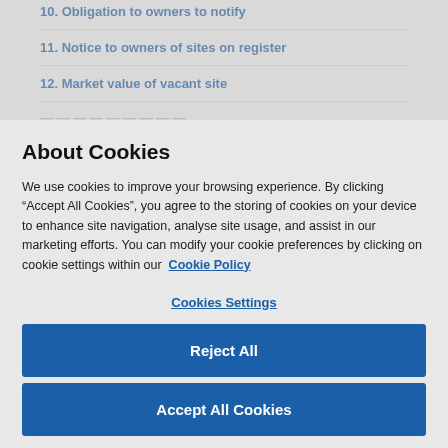10. Obligation to owners to notify
11. Notice to owners of sites on register
12. Market value of vacant site
About Cookies
We use cookies to improve your browsing experience. By clicking “Accept All Cookies”, you agree to the storing of cookies on your device to enhance site navigation, analyse site usage, and assist in our marketing efforts. You can modify your cookie preferences by clicking on cookie settings within our  Cookie Policy
Cookies Settings
Reject All
Accept All Cookies